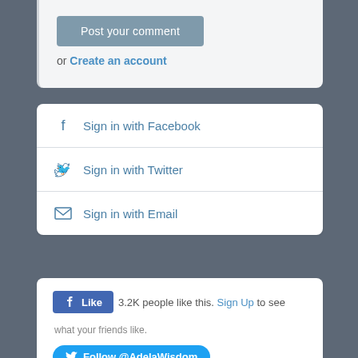[Figure (screenshot): Post your comment button with 'or Create an account' link on a light grey card background]
[Figure (screenshot): Sign in with Facebook option row with Facebook icon]
[Figure (screenshot): Sign in with Twitter option row with Twitter bird icon]
[Figure (screenshot): Sign in with Email option row with envelope icon]
[Figure (screenshot): Social engagement section with Facebook Like button showing 3.2K likes, Follow @AdelaWisdom Twitter button, and Subscribe with RSS link]